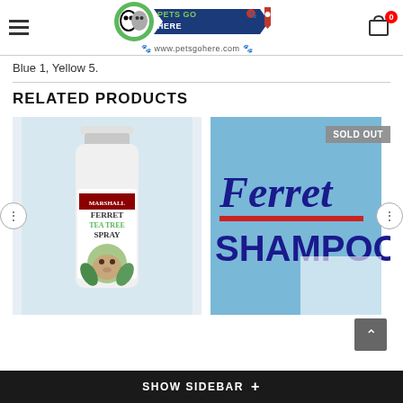Pets Go Here - www.petsgohere.com
Blue 1, Yellow 5.
RELATED PRODUCTS
[Figure (photo): Marshall Ferret Tea Tree Spray product bottle]
[Figure (photo): Ferret Shampoo product - marked SOLD OUT]
SHOW SIDEBAR +